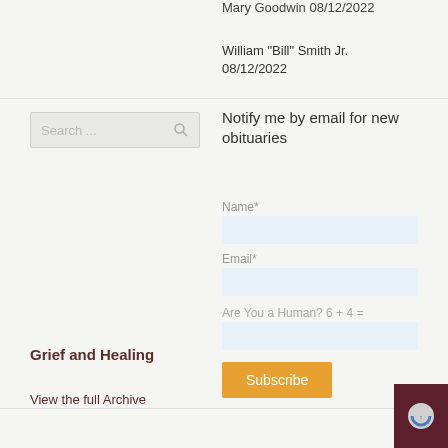Mary Goodwin 08/12/2022
William "Bill" Smith Jr. 08/12/2022
[Figure (other): Search input box with magnifying glass icon]
Notify me by email for new obituaries
Name*
Email*
Are You a Human? 6 + 4 =
Subscribe
Grief and Healing
View the full Archive